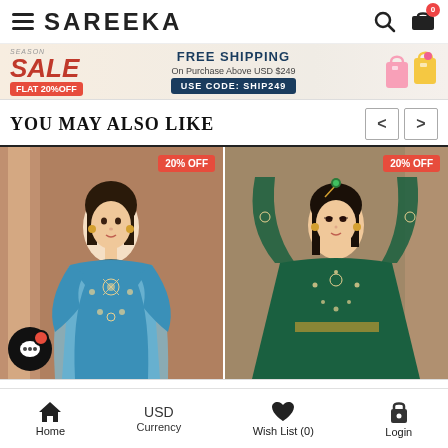SAREEKA
[Figure (infographic): Promotional banner: Season Sale FLAT 20%OFF, FREE SHIPPING On Purchase Above USD $249, USE CODE: SHIP249, with shopping bag icons]
You May Also Like
[Figure (photo): Model wearing blue embroidered salwar suit with dupatta, 20% OFF badge]
[Figure (photo): Model wearing dark green embroidered anarkali suit, 20% OFF badge]
Home | USD Currency | Wish List (0) | Login